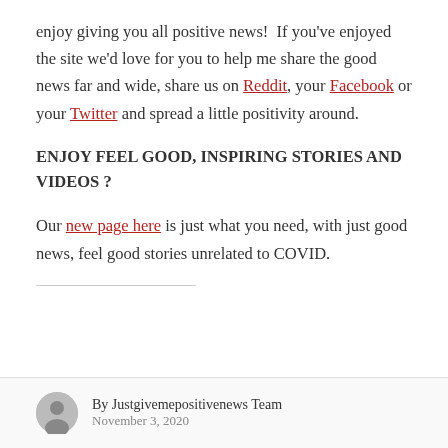enjoy giving you all positive news!  If you've enjoyed the site we'd love for you to help me share the good news far and wide, share us on Reddit, your Facebook or your Twitter and spread a little positivity around.
ENJOY FEEL GOOD, INSPIRING STORIES AND VIDEOS ?
Our new page here is just what you need, with just good news, feel good stories unrelated to COVID.
By Justgivemepositivenews Team
November 3, 2020